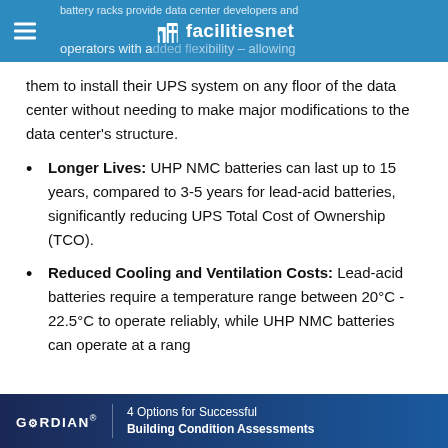battery racks provide data center developers and operators with added flexibility – allowing
them to install their UPS system on any floor of the data center without needing to make major modifications to the data center's structure.
Longer Lives: UHP NMC batteries can last up to 15 years, compared to 3-5 years for lead-acid batteries, significantly reducing UPS Total Cost of Ownership (TCO).
Reduced Cooling and Ventilation Costs: Lead-acid batteries require a temperature range between 20°C - 22.5°C to operate reliably, while UHP NMC batteries can operate at a range...
GORDIAN | 4 Options for Successful Building Condition Assessments